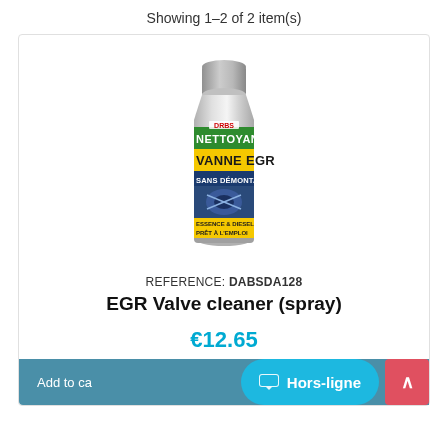Showing 1-2 of 2 item(s)
[Figure (photo): Spray can product: DRBS brand EGR valve cleaner (Nettoyant Vanne EGR sans démontage), grey aerosol can with green and yellow label text, essence & diesel]
REFERENCE: DABSDA128
EGR Valve cleaner (spray)
€12.65
Add to ca
Hors-ligne